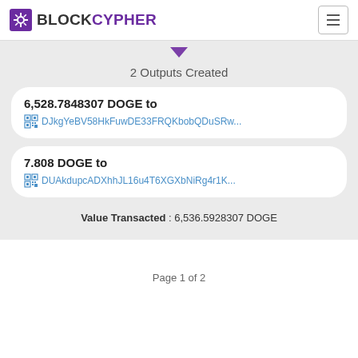BLOCKCYPHER
2 Outputs Created
6,528.7848307 DOGE to DJkgYeBV58HkFuwDE33FRQKbobQDuSRw...
7.808 DOGE to DUAkdupcADXhhJL16u4T6XGXbNiRg4r1K...
Value Transacted : 6,536.5928307 DOGE
Page 1 of 2